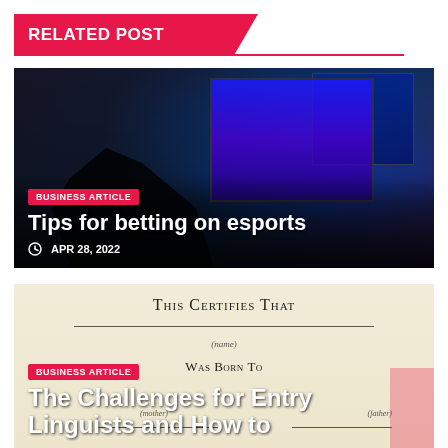RELATED POST
[Figure (photo): Gaming setup with person wearing headphones facing multiple monitors displaying game content in dark environment]
BUSINESS ARTICLE
Tips for betting on esports
APR 28, 2022
[Figure (photo): Certificate document showing 'This Certifies That' with fields for name, Was Born To, mother and father lines]
BUSINESS ARTICLE
The Challenges for Entry Linguists and How to